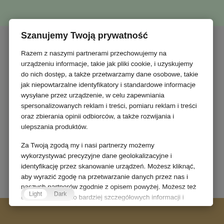Szanujemy Twoją prywatność
Razem z naszymi partnerami przechowujemy na urządzeniu informacje, takie jak pliki cookie, i uzyskujemy do nich dostęp, a także przetwarzamy dane osobowe, takie jak niepowtarzalne identyfikatory i standardowe informacje wysyłane przez urządzenie, w celu zapewniania spersonalizowanych reklam i treści, pomiaru reklam i treści oraz zbierania opinii odbiorców, a także rozwijania i ulepszania produktów.
Za Twoją zgodą my i nasi partnerzy możemy wykorzystywać precyzyjne dane geolokalizacyjne i identyfikację przez skanowanie urządzeń. Możesz kliknąć, aby wyrazić zgodę na przetwarzanie danych przez nas i naszych partnerów zgodnie z opisem powyżej. Możesz też uzyskać dostęp do bardziej szczegółowych informacji i zmienić swoje preferencje przed wyrażeniem zgody lub odmówić jej wyrażenia. Pamiętaj, że niektóre rodzaje przetwarzania danych mogą nie wymagać Twojej zgody, ale masz prawo sprzeciwić się takiemu przetwarzaniu. Twoje